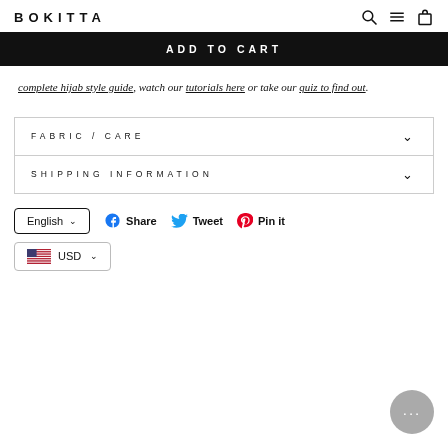BOKITTA
ADD TO CART
complete hijab style guide, watch our tutorials here or take our quiz to find out.
FABRIC / CARE
SHIPPING INFORMATION
English
Share
Tweet
Pin it
USD